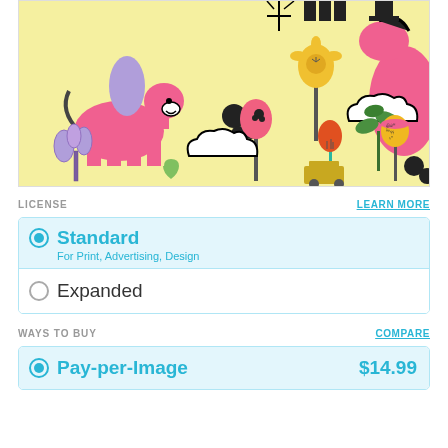[Figure (illustration): Colorful children's illustration on yellow background featuring pink horses/unicorns, flowers, clouds, hearts, dots, and plants in a playful doodle style]
LICENSE
LEARN MORE
Standard
For Print, Advertising, Design
Expanded
WAYS TO BUY
COMPARE
Pay-per-Image
$14.99